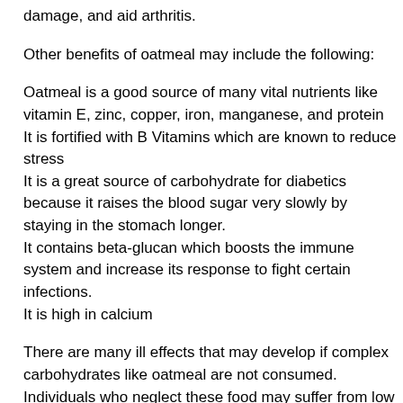damage, and aid arthritis.
Other benefits of oatmeal may include the following:
Oatmeal is a good source of many vital nutrients like vitamin E, zinc, copper, iron, manganese, and protein
It is fortified with B Vitamins which are known to reduce stress
It is a great source of carbohydrate for diabetics because it raises the blood sugar very slowly by staying in the stomach longer.
It contains beta-glucan which boosts the immune system and increase its response to fight certain infections.
It is high in calcium
There are many ill effects that may develop if complex carbohydrates like oatmeal are not consumed. Individuals who neglect these food may suffer from low energy levels and gain unwanted weight and lead to obesity. Studies show